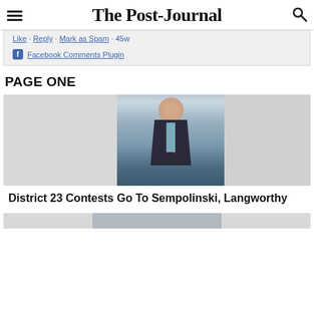The Post-Journal
Like · Reply · Mark as Spam · 45w
Facebook Comments Plugin
PAGE ONE
[Figure (photo): Portrait photo of a man in a dark suit with a red tie, smiling, with trees visible in the background]
District 23 Contests Go To Sempolinski, Langworthy
[Figure (photo): Partial view of a second article photo at the bottom of the page]